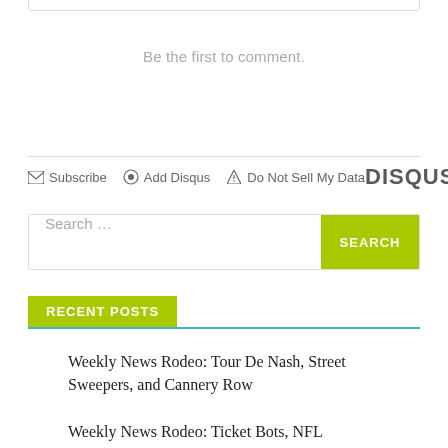Be the first to comment.
Subscribe  Add Disqus  Do Not Sell My Data  DISQUS
Search ...
RECENT POSTS
Weekly News Rodeo: Tour De Nash, Street Sweepers, and Cannery Row
Weekly News Rodeo: Ticket Bots, NFL Schedule, and a Solar Slump